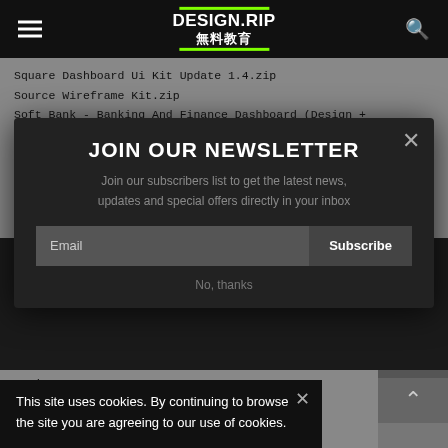DESIGN.RIP 無料教育
Square Dashboard Ui Kit Update 1.4.zip
Source Wireframe Kit.zip
Soft Bank - Banking And Finance Dashboard (Design + Code).zip
JOIN OUR NEWSLETTER
Join our subscribers list to get the latest news, updates and special offers directly in your inbox
Email  Subscribe
No, thanks
This site uses cookies. By continuing to browse the site you are agreeing to our use of cookies.